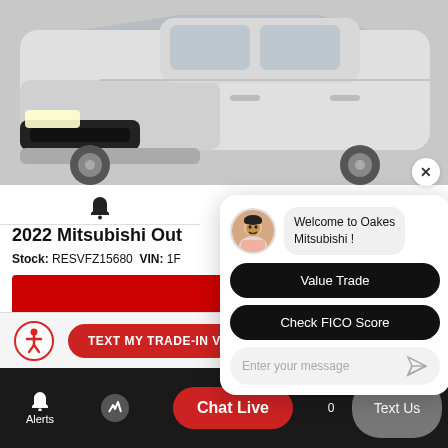[Figure (screenshot): Top portion showing a Mitsubishi Outlander SUV photo in gray/white]
2022 Mitsubishi Out...
Stock: RESVFZ15680   VIN: 1F...
[Figure (screenshot): Chat popup overlay with avatar, welcome message 'Welcome to Oakes Mitsubishi!', Value Trade button, Check FICO Score button, and message input field]
Welcome to Oakes Mitsubishi !
Value Trade
Check FICO Score
Enter your message
TEXT MY TRADE-IN VALUE!
Chat Live
Text Us
Alerts